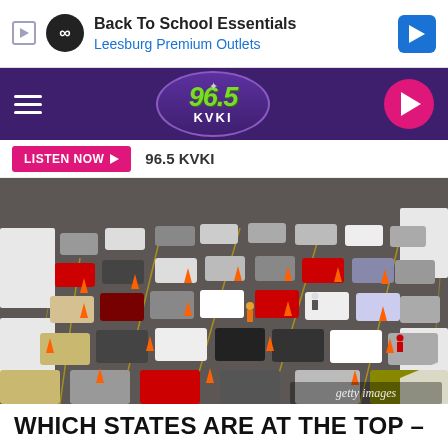[Figure (screenshot): Advertisement banner: Back To School Essentials - Leesburg Premium Outlets with play and location icons]
[Figure (logo): 96.5 KVKI radio station logo on purple navigation bar with hamburger menu and pink play button]
LISTEN NOW ▶  96.5 KVKI
[Figure (photo): Aerial view of a large parking lot with many cars lined up in lanes separated by orange traffic cones, with white tents at edges and people walking around (COVID testing or vaccination site). Getty Images watermark visible.]
WHICH STATES ARE AT THE TOP –